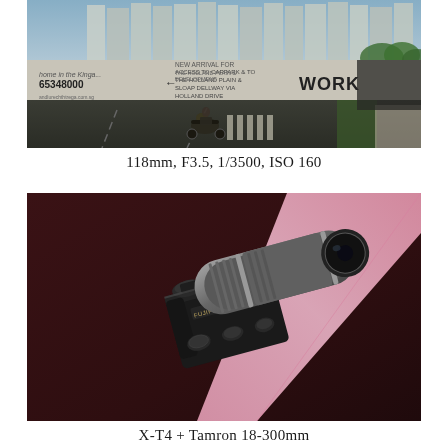[Figure (photo): Street scene showing a motorcyclist riding on a road beside a concrete wall with advertisements including '65348000' and 'WORK'. High-rise buildings visible in background against a blue sky. Moody, documentary-style photo.]
118mm, F3.5, 1/3500, ISO 160
[Figure (photo): Top-down view of a Fujifilm X-T4 mirrorless camera with a Tamron 18-300mm lens mounted, placed on a dark burgundy/maroon surface. A pink diagonal line (light tube or rod) runs across the upper right corner of the frame.]
X-T4 + Tamron 18-300mm